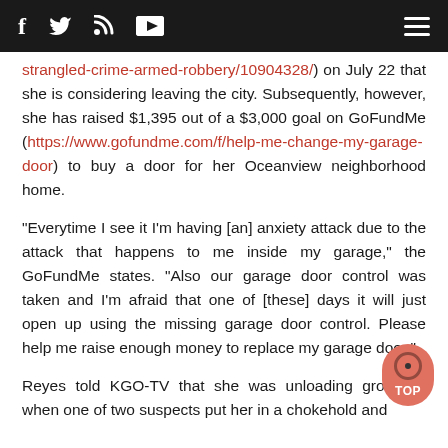Social media navigation bar with icons: facebook, twitter, RSS, YouTube, hamburger menu
strangled-crime-armed-robbery/10904328/) on July 22 that she is considering leaving the city. Subsequently, however, she has raised $1,395 out of a $3,000 goal on GoFundMe (https://www.gofundme.com/f/help-me-change-my-garage-door) to buy a door for her Oceanview neighborhood home.
"Everytime I see it I'm having [an] anxiety attack due to the attack that happens to me inside my garage," the GoFundMe states. "Also our garage door control was taken and I'm afraid that one of [these] days it will just open up using the missing garage door control. Please help me raise enough money to replace my garage door."
Reyes told KGO-TV that she was unloading groceries when one of two suspects put her in a chokehold and